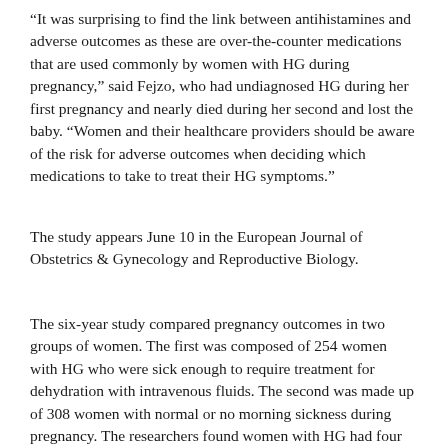“It was surprising to find the link between antihistamines and adverse outcomes as these are over-the-counter medications that are used commonly by women with HG during pregnancy,” said Fejzo, who had undiagnosed HG during her first pregnancy and nearly died during her second and lost the baby. “Women and their healthcare providers should be aware of the risk for adverse outcomes when deciding which medications to take to treat their HG symptoms.”
The study appears June 10 in the European Journal of Obstetrics & Gynecology and Reproductive Biology.
The six-year study compared pregnancy outcomes in two groups of women. The first was composed of 254 women with HG who were sick enough to require treatment for dehydration with intravenous fluids. The second was made up of 308 women with normal or no morning sickness during pregnancy. The researchers found women with HG had four